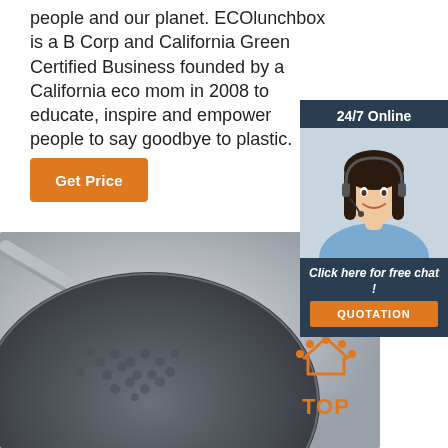people and our planet. ECOlunchbox is a B Corp and California Green Certified Business founded by a California eco mom in 2008 to educate, inspire and empower people to say goodbye to plastic.
[Figure (other): Orange 'Get Price' button]
[Figure (other): 24/7 Online chat widget with woman in headset, 'Click here for free chat!' text, and orange QUOTATION button]
[Figure (photo): Close-up photo of stainless steel pan/wok with honeycomb pattern, with an orange TOP badge in the lower right]